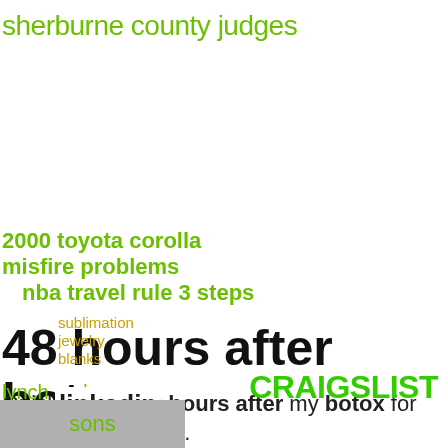sherburne county judges
2000 toyota corolla misfire problems
nba travel rule 3 steps
48 hours after botox
Quick update 48 hours after my botox for migraine injections.
sublimation jewelry blanks
lynch and
linkedin
CRAIGSLIST
sons